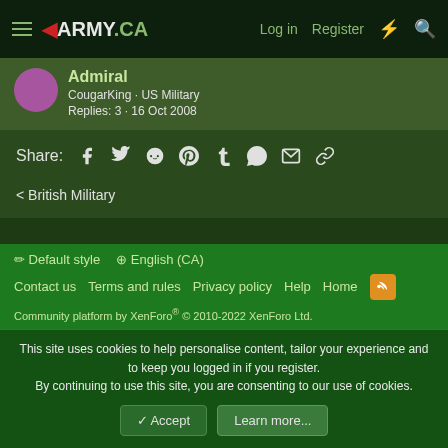◀ARMY.CA  Log in  Register
Admiral
CougarKing · US Military
Replies: 3 · 16 Oct 2008
Share: [Facebook] [Twitter] [Reddit] [Pinterest] [Tumblr] [WhatsApp] [Email] [Link]
< British Military
Default style  English (CA)
Contact us  Terms and rules  Privacy policy  Help  Home
Community platform by XenForo® © 2010-2022 XenForo Ltd.
This site uses cookies to help personalise content, tailor your experience and to keep you logged in if you register.
By continuing to use this site, you are consenting to our use of cookies.
[Accept]  [Learn more...]